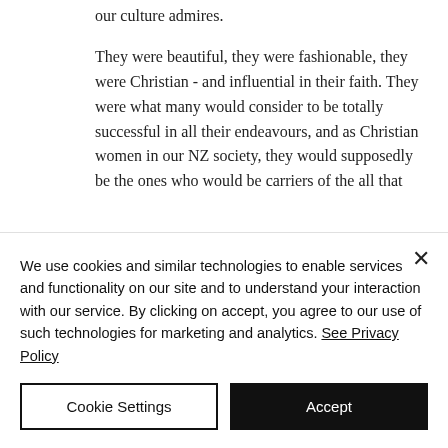our culture admires.
They were beautiful, they were fashionable, they were Christian - and influential in their faith. They were what many would consider to be totally successful in all their endeavours, and as Christian women in our NZ society, they would supposedly be the ones who would be carriers of the all that
We use cookies and similar technologies to enable services and functionality on our site and to understand your interaction with our service. By clicking on accept, you agree to our use of such technologies for marketing and analytics. See Privacy Policy
Cookie Settings
Accept